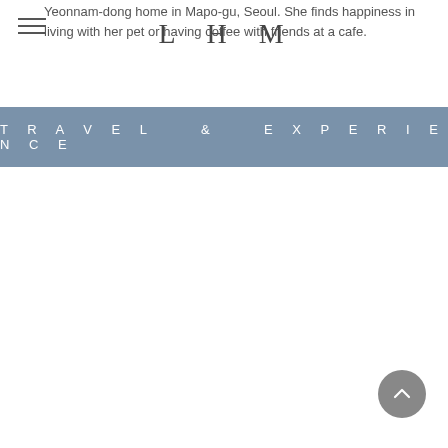LHM
Yeonnam-dong home in Mapo-gu, Seoul. She finds happiness in living with her pet or having coffee with friends at a cafe.
TRAVEL & EXPERIENCE
[Figure (other): Back to top button — circular grey button with upward-pointing chevron arrow]